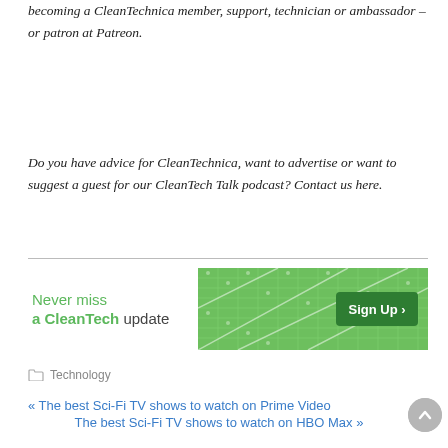becoming a CleanTechnica member, support, technician or ambassador – or patron at Patreon.
Do you have advice for CleanTechnica, want to advertise or want to suggest a guest for our CleanTech Talk podcast? Contact us here.
[Figure (infographic): CleanTech newsletter sign-up banner with solar panel background image and green 'Sign Up >' button. Text reads: Never miss a CleanTech update]
Technology
« The best Sci-Fi TV shows to watch on Prime Video
The best Sci-Fi TV shows to watch on HBO Max »